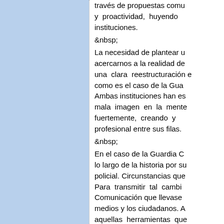[Figure (other): Light blue rectangular background panel on the left side of the page]
través de propuestas comunicativas y proactividad, huyendo instituciones.
&nbsp;
La necesidad de plantear u acercarnos a la realidad de una clara reestructuración e como es el caso de la Gua Ambas instituciones han es mala imagen en la mente fuertemente, creando y profesional entre sus filas.
&nbsp;
En el caso de la Guardia C lo largo de la historia por su policial. Circunstancias que Para transmitir tal cambi Comunicación que llevase medios y los ciudadanos. A aquellas herramientas que como Internet.